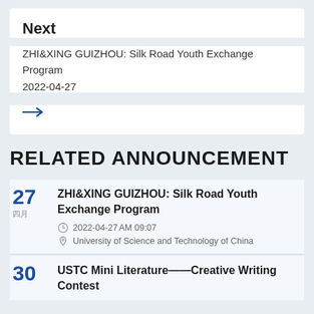Next
ZHI&XING GUIZHOU: Silk Road Youth Exchange Program
2022-04-27
[Figure (illustration): Blue right arrow link]
RELATED ANNOUNCEMENT
27 [month] ZHI&XING GUIZHOU: Silk Road Youth Exchange Program | 2022-04-27 AM 09:07 | University of Science and Technology of China
30 USTC Mini Literature——Creative Writing Contest